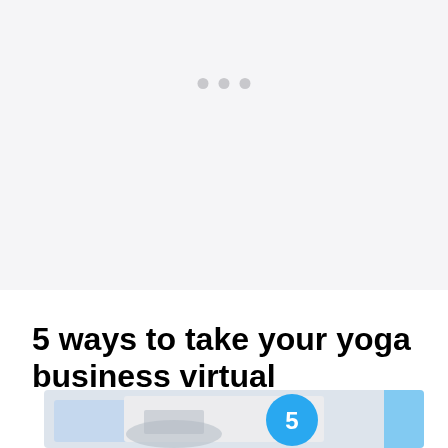[Figure (other): Light gray placeholder area with three small gray dots in the center, representing a loading or carousel placeholder region.]
5 ways to take your yoga business virtual
[Figure (photo): Partial view of an article thumbnail image showing a blue circle with a white number on a light background, suggesting a numbered list graphic for a yoga business article.]